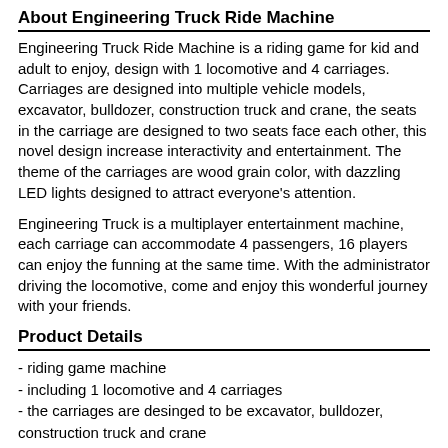About Engineering Truck Ride Machine
Engineering Truck Ride Machine is a riding game for kid and adult to enjoy, design with 1 locomotive and 4 carriages. Carriages are designed into multiple vehicle models, excavator, bulldozer, construction truck and crane, the seats in the carriage are designed to two seats face each other, this novel design increase interactivity and entertainment. The theme of the carriages are wood grain color, with dazzling LED lights designed to attract everyone's attention.
Engineering Truck is a multiplayer entertainment machine, each carriage can accommodate 4 passengers, 16 players can enjoy the funning at the same time. With the administrator driving the locomotive, come and enjoy this wonderful journey with your friends.
Product Details
- riding game machine
- including 1 locomotive and 4 carriages
- the carriages are desinged to be excavator, bulldozer, construction truck and crane
- each carriage design for 4 players
- passengers: 16 players